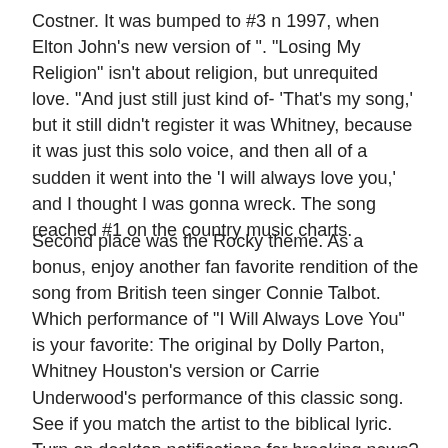Costner. It was bumped to #3 n 1997, when Elton John's new version of ". "Losing My Religion" isn't about religion, but unrequited love. "And just still just kind of- 'That's my song,' but it still didn't register it was Whitney, because it was just this solo voice, and then all of a sudden it went into the 'I will always love you,' and I thought I was gonna wreck. The song reached #1 on the country music charts.
Second place was the Rocky theme. As a bonus, enjoy another fan favorite rendition of the song from British teen singer Connie Talbot. Which performance of "I Will Always Love You" is your favorite: The original by Dolly Parton, Whitney Houston's version or Carrie Underwood's performance of this classic song. See if you match the artist to the biblical lyric. Turn on desktop notifications for breaking news? It's just- I can't explain that feeling, to think that that was so final for her, and that that was my words and my feeling- I would forever be so connected to her." 1 hit on the country music charts after its release in 1974. Houston performed this at the Grammys in 1993. "I Will Always Love You" is a song written by American singer-songwriter Dolly Parton in 1973, who first released the song as a single in 1974.